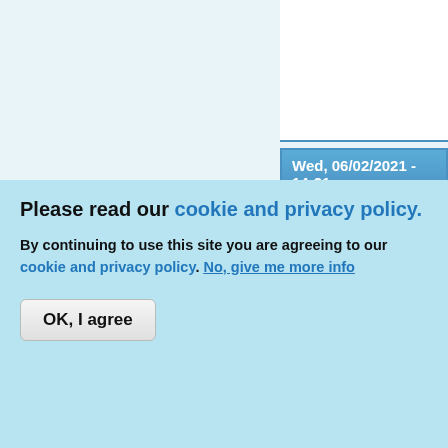[Figure (screenshot): Top portion of a forum page showing a blue 'Top' button in the upper right area]
Wed, 06/02/2021 - 14:21
djozz
[Figure (photo): Avatar photo: a glowing light bulb with red/orange glow against dark background]
Offline
Last seen: 14 hours 35 min ago
Joined: 09/07/2012
Looks like spot welde
link to djozz tes
Please read our cookie and privacy policy.
By continuing to use this site you are agreeing to our cookie and privacy policy. No, give me more info
OK, I agree